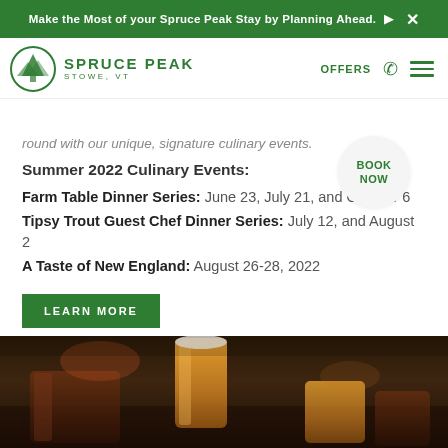Make the Most of your Spruce Peak Stay by Planning Ahead.
[Figure (logo): Spruce Peak logo with mountain circle icon, text SPRUCE PEAK STOWE, VT in green]
round with our unique, signature culinary events.
Summer 2022 Culinary Events:
Farm Table Dinner Series: June 23, July 21, and October 6
Tipsy Trout Guest Chef Dinner Series: July 12, and August 2
A Taste of New England: August 26-28, 2022
LEARN MORE
[Figure (photo): Photo of beer glasses on a table, warm amber tones, bar setting]